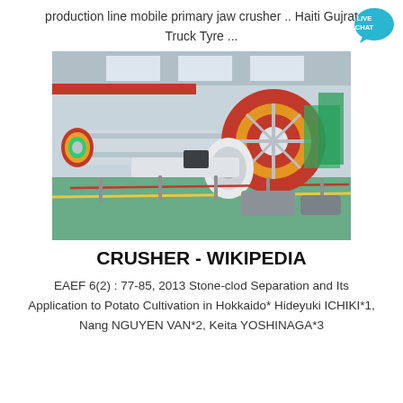production line mobile primary jaw crusher .. Haiti Gujrat Truck Tyre ...
[Figure (photo): Large industrial ball mill machinery inside a manufacturing facility, showing a long cylindrical grinding mill with red and yellow flywheel/ring gear, green flooring, and overhead cranes in the background.]
CRUSHER - WIKIPEDIA
EAEF 6(2) : 77-85, 2013 Stone-clod Separation and Its Application to Potato Cultivation in Hokkaido* Hideyuki ICHIKI*1, Nang NGUYEN VAN*2, Keita YOSHINAGA*3